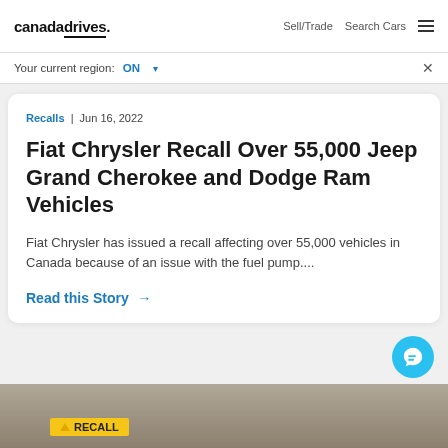canadadrives  Sell/Trade  Search Cars
Your current region: ON
Recalls | Jun 16, 2022
Fiat Chrysler Recall Over 55,000 Jeep Grand Cherokee and Dodge Ram Vehicles
Fiat Chrysler has issued a recall affecting over 55,000 vehicles in Canada because of an issue with the fuel pump....
Read this Story →
[Figure (photo): Outdoor sandy/dusty landscape at the bottom of the page with a yellow RECALL sign overlay]